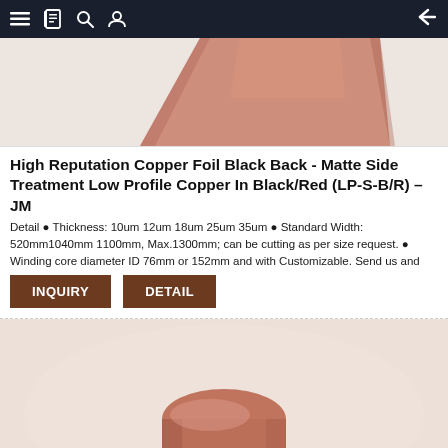Navigation bar with menu, book, search, profile icons and back arrow
[Figure (photo): Partial view of copper foil sheet in salmon/copper color against white background, image cut off at top]
High Reputation Copper Foil Black Back - Matte Side Treatment Low Profile Copper In Black/Red (LP-S-B/R) – JM
Detail • Thickness: 10um 12um 18um 25um 35um • Standard Width: 520mm1040mm 1100mm, Max.1300mm; can be cutting as per size request. • Winding core diameter ID 76mm or 152mm and with Customizable. Send us and
INQUIRY   DETAIL
[Figure (photo): Copper foil roll and flat sheet photo showing rolled copper foil in pinkish-salmon color against light background]